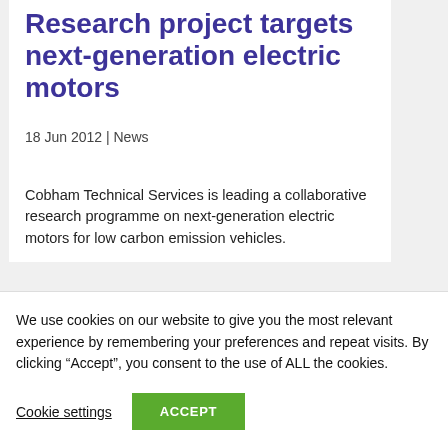Research project targets next-generation electric motors
18 Jun 2012 | News
Cobham Technical Services is leading a collaborative research programme on next-generation electric motors for low carbon emission vehicles.
We use cookies on our website to give you the most relevant experience by remembering your preferences and repeat visits. By clicking “Accept”, you consent to the use of ALL the cookies.
Cookie settings
ACCEPT